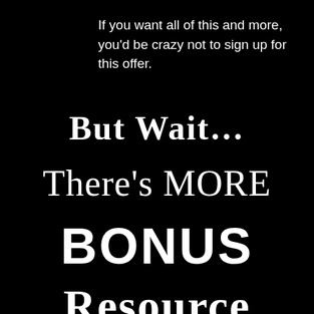If you want all of this and more, you'd be crazy not to sign up for this offer.
But Wait…
There's MORE
BONUS
Resource